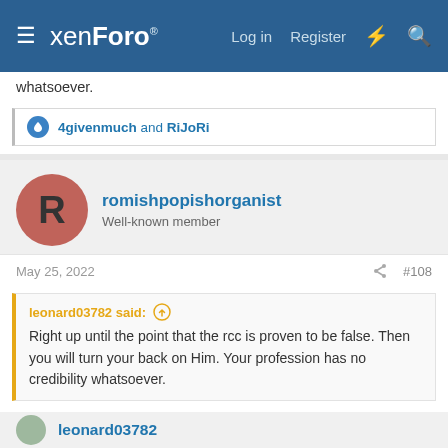xenForo® — Log in   Register
whatsoever.
4givenmuch and RiJoRi
romishpopishorganist
Well-known member
May 25, 2022   #108
leonard03782 said: ↑
Right up until the point that the rcc is proven to be false. Then you will turn your back on Him. Your profession has no credibility whatsoever.
If the RCC was proven false---where else would I have to turn? Christianity will have been proven false.

Do you have some place else for me to turn? If so, where is
leonard03782